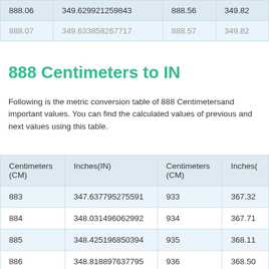| Centimeters (CM) | Inches(IN) | Centimeters (CM) | Inches(IN) |
| --- | --- | --- | --- |
| 888.06 | 349.629921259843 | 888.56 | 349.82 |
| 888.07 | 349.633858267717 | 888.57 | 349.82 |
888 Centimeters to IN
Following is the metric conversion table of 888 Centimetersand important values. You can find the calculated values of previous and next values using this table.
| Centimeters (CM) | Inches(IN) | Centimeters (CM) | Inches(IN) |
| --- | --- | --- | --- |
| 883 | 347.637795275591 | 933 | 367.32 |
| 884 | 348.031496062992 | 934 | 367.71 |
| 885 | 348.425196850394 | 935 | 368.11 |
| 886 | 348.818897637795 | 936 | 368.50 |
| 887 | 349.212598425197 | 937 | 368.89 |